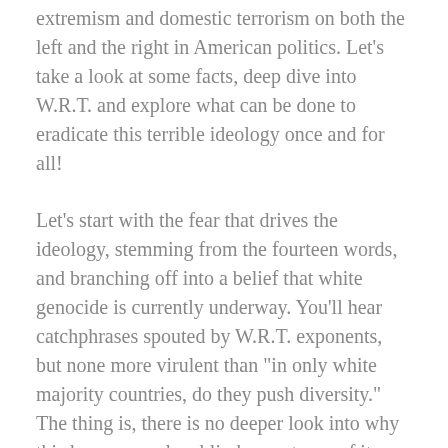extremism and domestic terrorism on both the left and the right in American politics. Let’s take a look at some facts, deep dive into W.R.T. and explore what can be done to eradicate this terrible ideology once and for all!
Let’s start with the fear that drives the ideology, stemming from the fourteen words, and branching off into a belief that white genocide is currently underway. You’ll hear catchphrases spouted by W.R.T. exponents, but none more virulent than “in only white majority countries, do they push diversity.” The thing is, there is no deeper look into why this happens, only a blind acceptance of it as fact.
The many countries where diversity is pressed were colonial powers, who later became more accepting of the indigenous people there and later still professed to become a nation of immigrants. Let’s take the U.S. for example, when we say